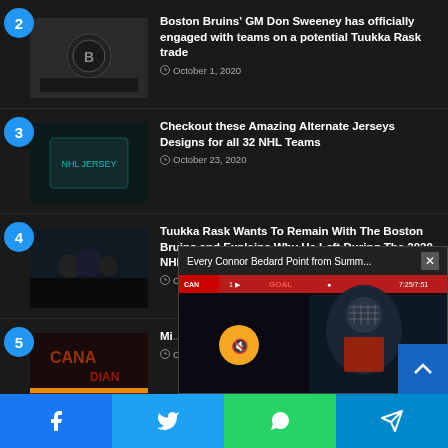2 — Boston Bruins' GM Don Sweeney has officially engaged with teams on a potential Tuukka Rask trade — October 1, 2020
3 — Checkout these Amazing Alternate Jerseys Designs for all 32 NHL Teams — October 23, 2020
4 — Tuukka Rask Wants To Remain With The Boston Bruins and Explains Why He Left During The 2020 NHL Playoffs — October ...
5 — Mi... on... se... — O...
[Figure (screenshot): Video overlay: Every Connor Bedard Point from Summ... with a GOAL scoreboard banner, mute button, and player in hockey helmet]
Facebook | Twitter | WhatsApp | Telegram